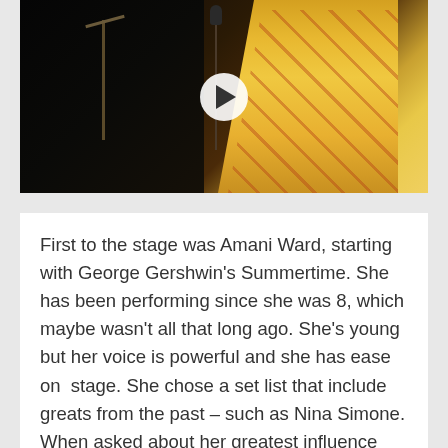[Figure (photo): Video thumbnail showing a performer on stage wearing a patterned yellow/white outfit with a microphone stand and music stand visible. A play button overlay is shown in the center.]
First to the stage was Amani Ward, starting with George Gershwin's Summertime. She has been performing since she was 8, which maybe wasn't all that long ago. She's young but her voice is powerful and she has ease on  stage. She chose a set list that include greats from the past – such as Nina Simone. When asked about her greatest influence the answer was – her mom. So already I love her. She was wise beyond her years when she spoke about learning to have the confidence to present yourself in your situation.